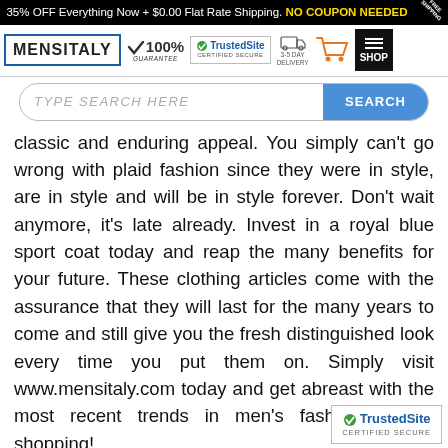35% OFF Everything Now + $0.00 Flat Rate Shipping. NO COUPON NEEDED
[Figure (logo): MENSITALY logo with blue border, 100% Guarantee checkmark badge, TrustedSite Certified Secure badge, 3-5 Day Delivery icon, shopping cart icon, and SHOP menu button]
[Figure (screenshot): Search bar with placeholder text TYPE SEARCH HERE and a blue SEARCH button]
classic and enduring appeal. You simply can't go wrong with plaid fashion since they were in style, are in style and will be in style forever. Don't wait anymore, it's late already. Invest in a royal blue sport coat today and reap the many benefits for your future. These clothing articles come with the assurance that they will last for the many years to come and still give you the fresh distinguished look every time you put them on. Simply visit www.mensitaly.com today and get abreast with the most recent trends in men's fashion. Happy shopping!
[Figure (logo): TrustedSite CERTIFIED SECURE badge in bottom right corner]